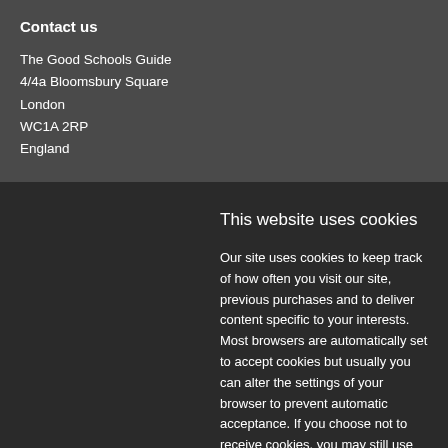Contact us
The Good Schools Guide
4/4a Bloomsbury Square
London
WC1A 2RP
England
This website uses cookies
Our site uses cookies to keep track of how often you visit our site, previous purchases and to deliver content specific to your interests. Most browsers are automatically set to accept cookies but usually you can alter the settings of your browser to prevent automatic acceptance. If you choose not to receive cookies, you may still use most of the features of our website.
More information
Agree